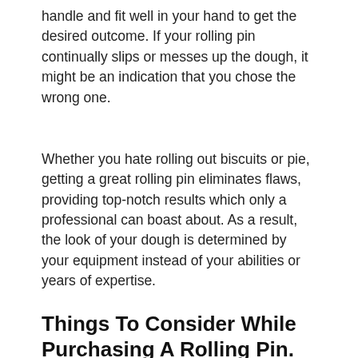handle and fit well in your hand to get the desired outcome. If your rolling pin continually slips or messes up the dough, it might be an indication that you chose the wrong one.
Whether you hate rolling out biscuits or pie, getting a great rolling pin eliminates flaws, providing top-notch results which only a professional can boast about. As a result, the look of your dough is determined by your equipment instead of your abilities or years of expertise.
Things To Consider While Purchasing A Rolling Pin.